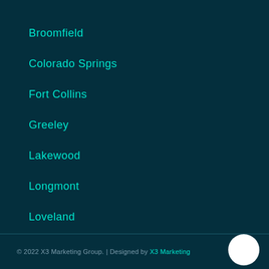Broomfield
Colorado Springs
Fort Collins
Greeley
Lakewood
Longmont
Loveland
Thornton
Westminster +
© 2022 X3 Marketing Group. | Designed by X3 Marketing